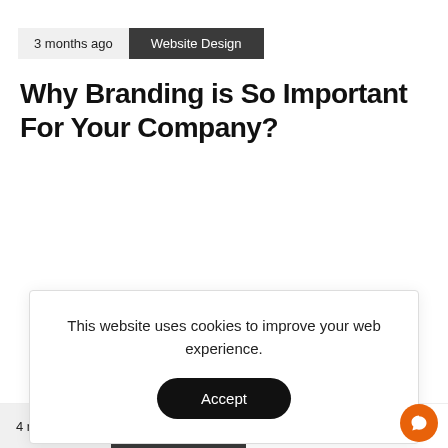3 months ago | Website Design
Why Branding is So Important For Your Company?
This website uses cookies to improve your web experience.
Accept
4 months ago | Website Design